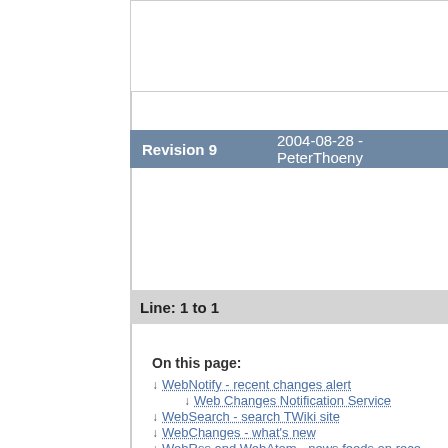Revision 9    2004-08-28 - PeterThoeny
Line: 1 to 1
On this page:
↓ WebNotify - recent changes alert
↓ Web Changes Notification Service
↓ WebSearch - search TWiki site
↓ WebChanges - what's new
↓ WebRss and WebAtom - news feeds on rece
↓ WebIndex - list of topics
↓ WebStatistics - site statistics
↓ Configuring for automatic operation
↓ Generating statistics manually by URL
↓ The maximum number of items in colum